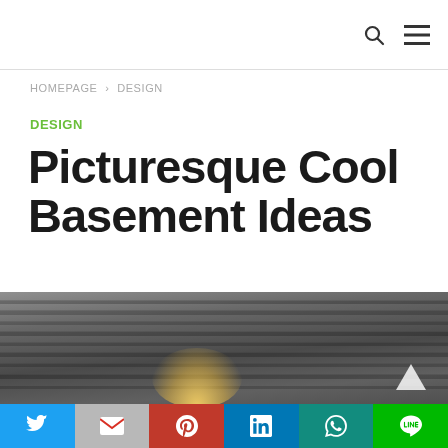HOMEPAGE › DESIGN
DESIGN
Picturesque Cool Basement Ideas
[Figure (photo): Photo of a basement ceiling with exposed painted beams and recessed lighting glowing from below]
Social sharing bar: Twitter, Gmail, Pinterest, LinkedIn, WhatsApp, LINE